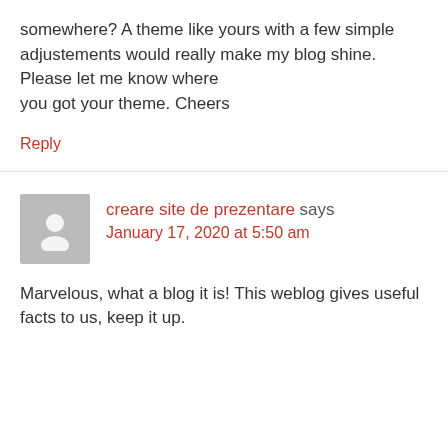somewhere? A theme like yours with a few simple adjustements would really make my blog shine. Please let me know where you got your theme. Cheers
Reply
creare site de prezentare says January 17, 2020 at 5:50 am
Marvelous, what a blog it is! This weblog gives useful facts to us, keep it up.